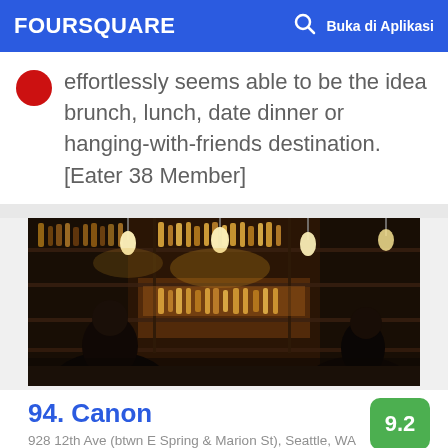FOURSQUARE   Buka di Aplikasi
effortlessly seems able to be the idea brunch, lunch, date dinner or hanging-with-friends destination. [Eater 38 Member]
[Figure (photo): Interior of a bar with shelves of liquor bottles lit with warm pendant lights; patrons seated at the bar in the foreground.]
94. Canon
928 12th Ave (btwn E Spring & Marion St), Seattle, WA